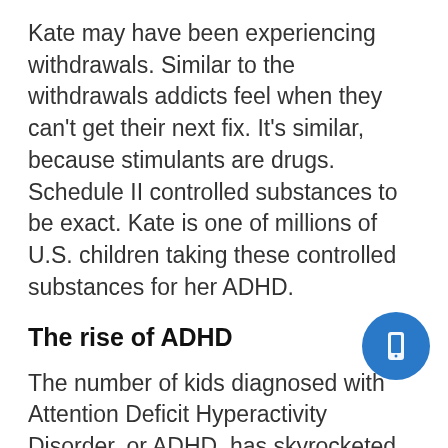Kate may have been experiencing withdrawals. Similar to the withdrawals addicts feel when they can't get their next fix. It's similar, because stimulants are drugs. Schedule II controlled substances to be exact. Kate is one of millions of U.S. children taking these controlled substances for her ADHD.
The rise of ADHD
The number of kids diagnosed with Attention Deficit Hyperactivity Disorder, or ADHD, has skyrocketed since the turn of the 21st century, prompting many researchers and medical health professionals to look for an explanation.
About 11% of kids aged 4 to 17 in the United States have been diagnosed with